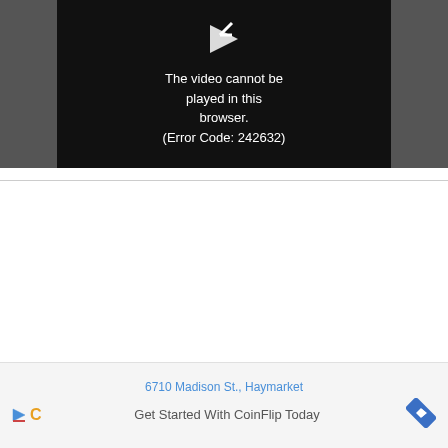[Figure (screenshot): Video player showing error message: 'The video cannot be played in this browser. (Error Code: 242632)' with a broken video icon on a dark/black background]
[Figure (screenshot): Advertisement banner showing address '6710 Madison St., Haymarket' with CoinFlip logo icons and text 'Get Started With CoinFlip Today' and navigation arrow icon]